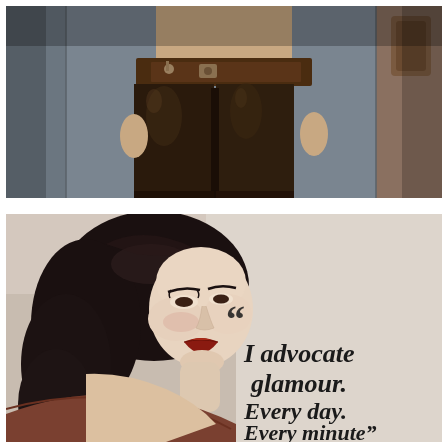[Figure (photo): Close-up photograph of a person wearing dark brown shiny leather pants with a matching leather belt, standing in what appears to be a hotel elevator. Only the torso and legs are visible. Background shows elevator walls and a brown leather panel.]
[Figure (photo): Glamour portrait of a woman with dark vintage-styled wavy hair and red lipstick, wearing a strapless outfit. She looks over her shoulder. Overlaid on the right side of the image is a large pull-quote in bold serif italic text: “I advocate glamour. Every day. Every minute”]
“I advocate glamour. Every day. Every minute”